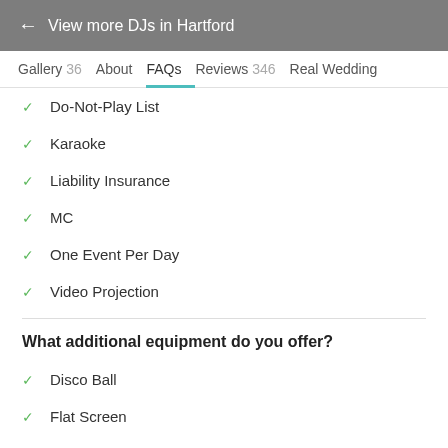← View more DJs in Hartford
Gallery 36  About  FAQs  Reviews 346  Real Wedding
Do-Not-Play List
Karaoke
Liability Insurance
MC
One Event Per Day
Video Projection
What additional equipment do you offer?
Disco Ball
Flat Screen
Microphones